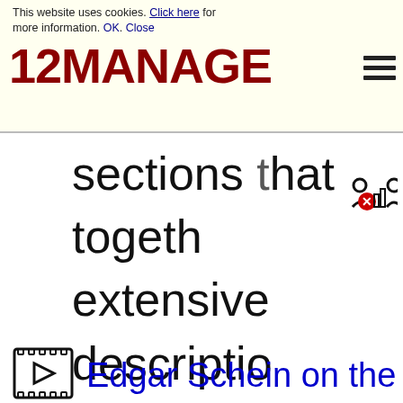This website uses cookies. Click here for more information. OK. Close
[Figure (logo): 12MANAGE logo in dark red bold text with hamburger menu icon]
sections that togeth extensive descriptio management acros The...
Edgar Schein on the